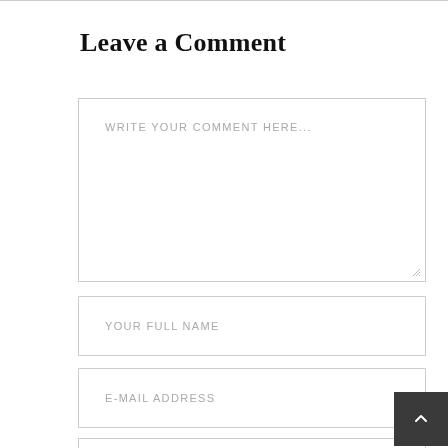Leave a Comment
WRITE YOUR COMMENT HERE...
YOUR FULL NAME
E-MAIL ADDRESS
WEBSITE